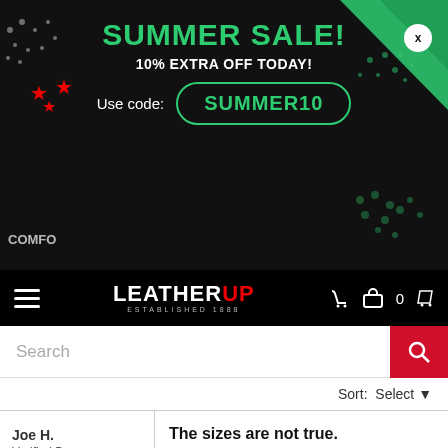SUMMER SALE!
10% EXTRA OFF TODAY!
Use code: SUMMER10
LEATHERUP ESTABLISHED 1888
Search
Sort: Select
Joe H. Verified Buyer
The sizes are not true. The sizes are not true. I wear a X-Large glove n it was too small had to return n order xxxl n they just barley fit. Type of motorcycle: Harley low rider
[Figure (logo): Norton Shopping Guarantee badge dated 8/26/2022]